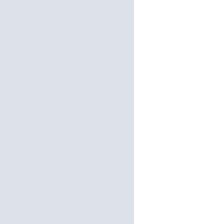Grid of underlined numbers from 2600 to 3354, arranged in rows of 11 columns, incrementing by 24 per row. Left portion has a light blue-grey background panel.